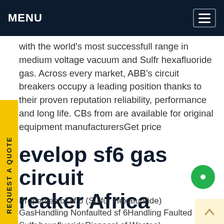MENU
with the world's most successfull range in medium voltage vacuum and Sulfr hexafluoride gas. Across every market, ABB's circuit breakers occupy a leading position thanks to their proven reputation reliability, performance and long life. CBs from are available for original equipment manufacturersGet price
evelop sf6 gas circuit breaker Africa
Properties of sf 6 (Sulfur Hexafuoride) GasHandling Nonfaulted sf 6Handling Faulted Sulfr hexafluorideDisposal of Wastea) Toxicityinsulating